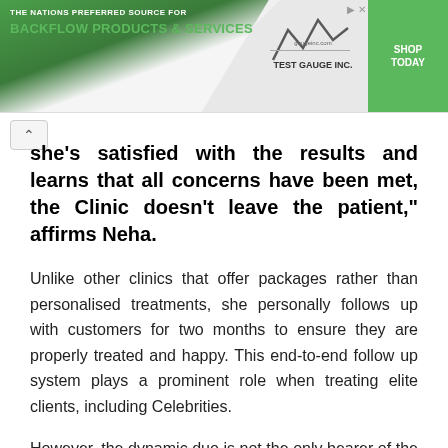[Figure (screenshot): Advertisement banner for Test Gauge Inc. – 'The Nations Preferred Source for Backflow Products & Services. Shop Today.']
she's satisfied with the results and learns that all concerns have been met, the Clinic doesn't leave the patient," affirms Neha.
Unlike other clinics that offer packages rather than personalised treatments, she personally follows up with customers for two months to ensure they are properly treated and happy. This end-to-end follow up system plays a prominent role when treating elite clients, including Celebrities.
However, the dynamic duo is not the only bearer of the burden. The clinic is supported by five pillars – Dr. Bharti Patil (Director & Founder), Dt. Neha G. Rokde (Director), Dr. Dhananjay Patil (Director), Mr. Gaurav Rokde (Director) and Shekhar Chavan (Business and Admin Head), Dr.